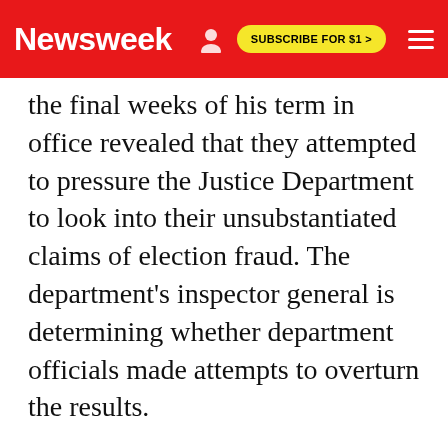Newsweek — SUBSCRIBE FOR $1 >
the final weeks of his term in office revealed that they attempted to pressure the Justice Department to look into their unsubstantiated claims of election fraud. The department's inspector general is determining whether department officials made attempts to overturn the results.